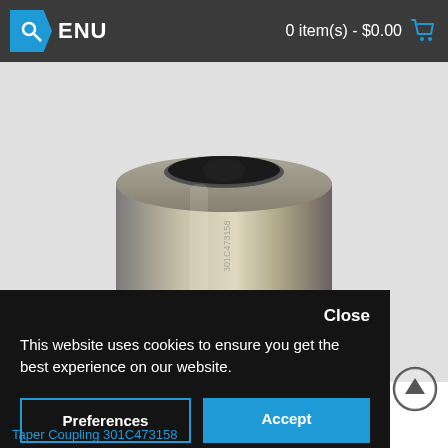MENU   0 item(s) - $0.00
[Figure (photo): Close-up photo of a metal taper coupling socket/adapter, cylindrical shape with hexagonal recess at top, engraved markings on side, viewed from above-front angle on white background]
Close
This website uses cookies to ensure you get the best experience on our website.
Preferences
Accept
Taper Coupling 301C473158